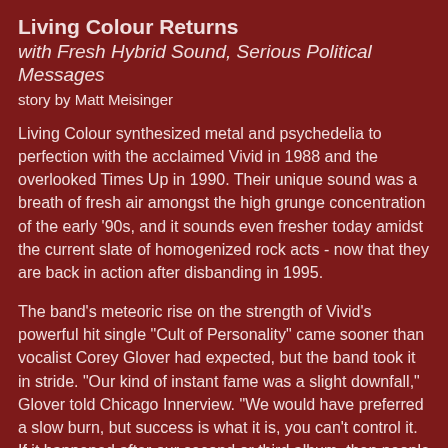Living Colour Returns
with Fresh Hybrid Sound, Serious Political Messages
story by Matt Meisinger
Living Colour synthesized metal and psychedelia to perfection with the acclaimed Vivid in 1988 and the overlooked Times Up in 1990. Their unique sound was a breath of fresh air amongst the high grunge concentration of the early '90s, and it sounds even fresher today amidst the current slate of homogenized rock acts - now that they are back in action after disbanding in 1995.
The band's meteoric rise on the strength of Vivid's powerful hit single "Cult of Personality" came sooner than vocalist Corey Glover had expected, but the band took it in stride. "Our kind of instant fame was a slight downfall," Glover told Chicago Innerview. "We would have preferred a slow burn, but success is what it is, you can't control it. If it happened after our second or third album, then people would be asking what took so long."
Collideoscope, the new album from Living Colour, begins